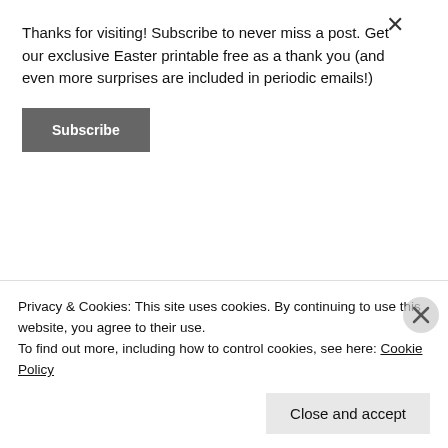Thanks for visiting! Subscribe to never miss a post. Get our exclusive Easter printable free as a thank you (and even more surprises are included in periodic emails!)
Subscribe
[Figure (other): Podcast advertisement banner with text 'Your next favorite podcast is here.' and a graphic showing earbuds/headphone device outline in blue]
Gentle Joy
Privacy & Cookies: This site uses cookies. By continuing to use this website, you agree to their use.
To find out more, including how to control cookies, see here: Cookie Policy
Close and accept